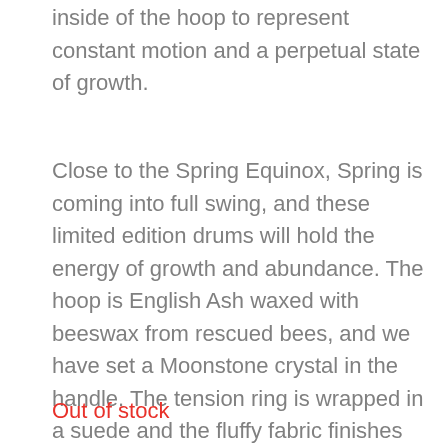inside of the hoop to represent constant motion and a perpetual state of growth.
Close to the Spring Equinox, Spring is coming into full swing, and these limited edition drums will hold the energy of growth and abundance. The hoop is English Ash waxed with beeswax from rescued bees, and we have set a Moonstone crystal in the handle. The tension ring is wrapped in a suede and the fluffy fabric finishes off the handle so that it is really comfortable to hold.
Out of stock